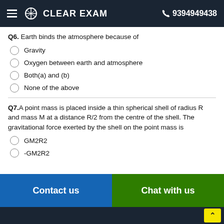CLEAR EXAM  9394949438
Q6. Earth binds the atmosphere because of
Gravity
Oxygen between earth and atmosphere
Both(a) and (b)
None of the above
Q7.A point mass is placed inside a thin spherical shell of radius R and mass M at a distance R/2 from the centre of the shell. The gravitational force exerted by the shell on the point mass is
GM2R2
-GM2R2
Contact us   Chat with us